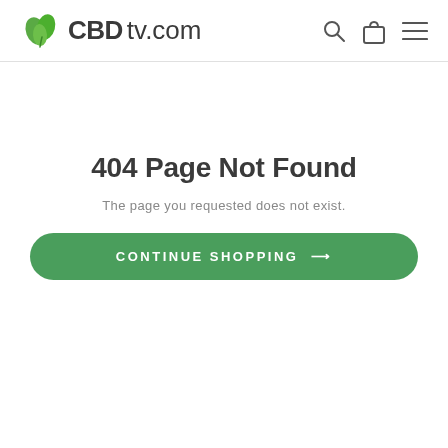[Figure (logo): CBDtv.com logo with green leaf icon and dark gray text]
404 Page Not Found
The page you requested does not exist.
CONTINUE SHOPPING →